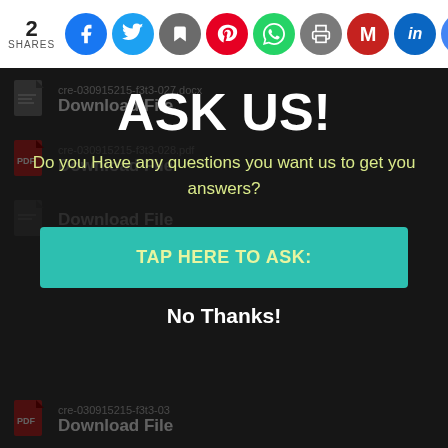2 SHARES — Social sharing icons: Facebook, Twitter, Save, Pinterest, WhatsApp, Print, Gmail, LinkedIn, Google
cre-030915215-f3t3-027.docx
Download File
cre-030915215-f3t3-028.pdf
Download File
Download File
ASK US!
Do you Have any questions you want us to get you answers?
TAP HERE TO ASK:
No Thanks!
cre-030915215-f3t3-03...
Download File
cre-030915215-f3t3-032.docx
Download File